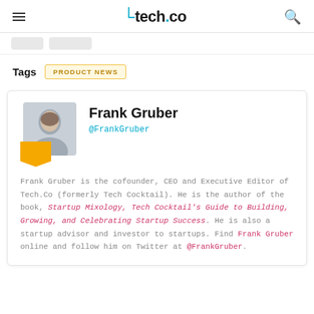tech.co
Tags  PRODUCT NEWS
[Figure (photo): Author photo of Frank Gruber with orange chevron/bookmark shape below]
Frank Gruber
@FrankGruber
Frank Gruber is the cofounder, CEO and Executive Editor of Tech.Co (formerly Tech Cocktail). He is the author of the book, Startup Mixology, Tech Cocktail's Guide to Building, Growing, and Celebrating Startup Success. He is also a startup advisor and investor to startups. Find Frank Gruber online and follow him on Twitter at @FrankGruber.